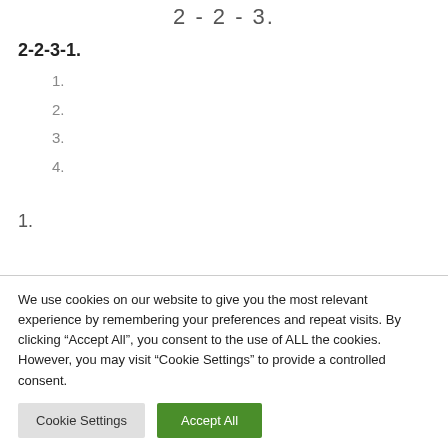2-2-3.
2-2-3-1.
1.
2.
3.
4.
1.
We use cookies on our website to give you the most relevant experience by remembering your preferences and repeat visits. By clicking “Accept All”, you consent to the use of ALL the cookies. However, you may visit “Cookie Settings” to provide a controlled consent.